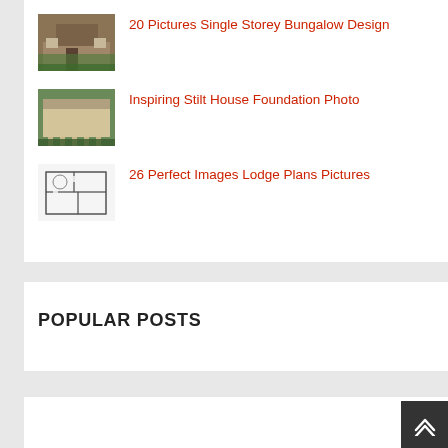20 Pictures Single Storey Bungalow Design
Inspiring Stilt House Foundation Photo
26 Perfect Images Lodge Plans Pictures
POPULAR POSTS